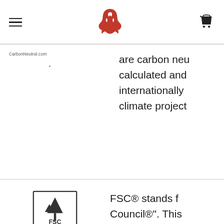Navigation bar with hamburger menu, red horse logo, and cart icon
CarbonNeutral.com
are carbon neu calculated and internationally climate project
[Figure (logo): FSC certification logo — tree with checkmark inside a square border, text FSC www.fsc.org FSC C011363]
FSC™
FSC® stands f Council®". This products come forests that su wildlife and pr economic bene
[Figure (logo): PEFC certification logo — circular grey logo with two trees and a person]
PEFC
PEFC (Progran Forest Certifica leading institu marketing activ friendly forest products beri